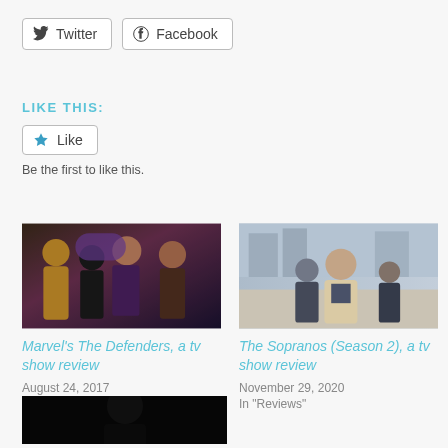Twitter
Facebook
LIKE THIS:
Like
Be the first to like this.
[Figure (photo): Marvel's The Defenders TV show cast members]
Marvel's The Defenders, a tv show review
August 24, 2017
In "Reviews"
[Figure (photo): The Sopranos cast walking outdoors]
The Sopranos (Season 2), a tv show review
November 29, 2020
In "Reviews"
[Figure (photo): Dark TV show or similar, dark-toned image]